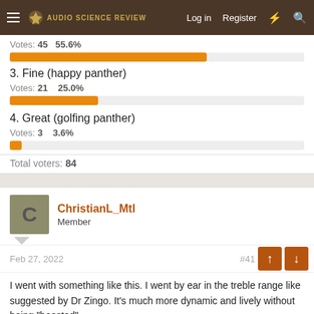Audio Science Review — Log in | Register
Votes: 45   55.6%
3. Fine (happy panther)
Votes: 21   25.0%
4. Great (golfing panther)
Votes: 3   3.6%
Total voters: 84
ChristianL_Mtl
Member
Feb 27, 2022   #41
I went with something like this. I went by ear in the treble range like suggested by Dr Zingo. It's much more dynamic and lively without being "boosted".